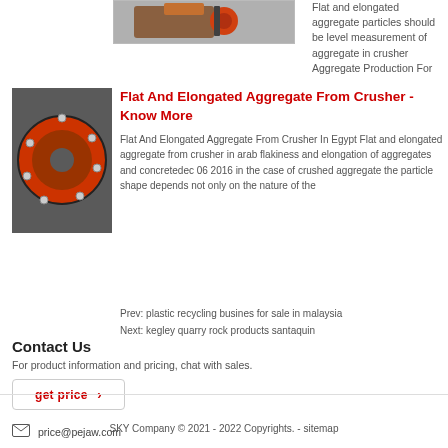[Figure (photo): Partial view of machinery/crusher equipment at top of page]
Flat and elongated aggregate particles should be level measurement of aggregate in crusher Aggregate Production For
[Figure (photo): Close-up photo of a red circular crusher or grinding machine component with bolts]
Flat And Elongated Aggregate From Crusher - Know More
Flat And Elongated Aggregate From Crusher In Egypt Flat and elongated aggregate from crusher in arab flakiness and elongation of aggregates and concretedec 06 2016 in the case of crushed aggregate the particle shape depends not only on the nature of the
Prev: plastic recycling busines for sale in malaysia
Next: kegley quarry rock products santaquin
Contact Us
For product information and pricing, chat with sales.
get price ›
price@pejaw.com
SKY Company © 2021 - 2022 Copyrights. - sitemap